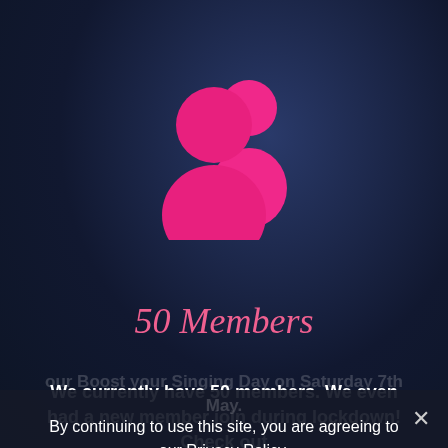[Figure (illustration): Two overlapping person/people silhouette icons in bright pink/magenta color on dark blue background]
50 Members
We currently have 50 members. We even had a new member join during lockdown! Check out our Boost your Singing Day on Saturday 7th May.
By continuing to use this site, you are agreeing to our Privacy Policy.
New members are always welcome. Please contact our MD (details below) before attending your first rehearsal.
Privacy Preferences
I Agree